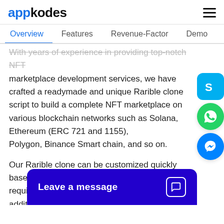appkodes
Overview | Features | Revenue-Factor | Demo
With years of experience in providing top-notch NFT marketplace development services, we have crafted a readymade and unique Rarible clone script to build a complete NFT marketplace on various blockchain networks such as Solana, Ethereum (ERC 721 and 1155), Polygon, Binance Smart chain, and so on.
Our Rarible clone can be customized quickly based on your varying blockchain business requirements. Therefore, the inclusion of additional functionalities to suit your marketplace ideas will not be a tough job with our Rarible clone. Also, our Rarible clone is put through several testing steps to arrive at a perfect solution within your budget
Leave a message